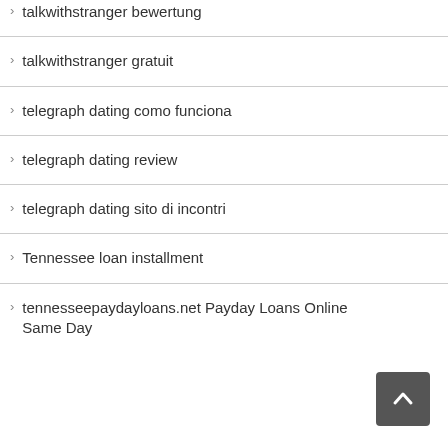talkwithstranger bewertung
talkwithstranger gratuit
telegraph dating como funciona
telegraph dating review
telegraph dating sito di incontri
Tennessee loan installment
tennesseepaydayloans.net Payday Loans Online Same Day